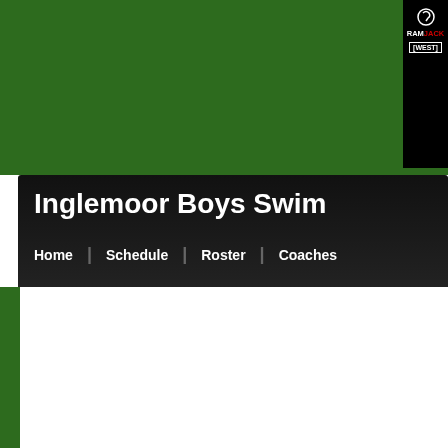[Figure (screenshot): RamJack West advertisement with house photo and logo in top right corner]
Inglemoor Boys Swim
Home | Schedule | Roster | Coaches
Coac
Varsity Coa
Date: 8/22/2022
Week of  Monday, Au
There are no events during the selecte